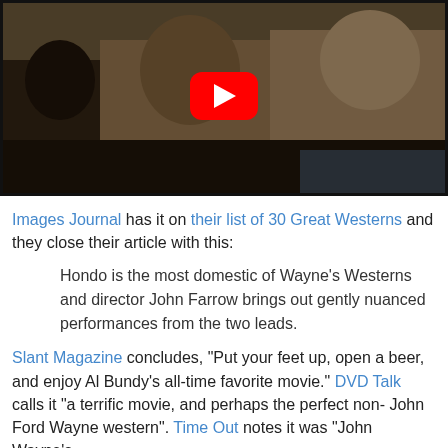[Figure (screenshot): YouTube video thumbnail showing a scene from the western film Hondo, with a red YouTube play button overlay on a dark video still of people in western/native attire]
Images Journal has it on their list of 30 Great Westerns and they close their article with this:
Hondo is the most domestic of Wayne's Westerns and director John Farrow brings out gently nuanced performances from the two leads.
Slant Magazine concludes, "Put your feet up, open a beer, and enjoy Al Bundy's all-time favorite movie." DVD Talk calls it "a terrific movie, and perhaps the perfect non- John Ford Wayne western". Time Out notes it was "John Wayne's